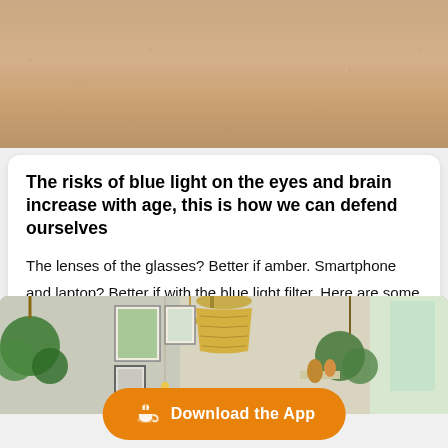[Figure (photo): Close-up of human skin texture, showing the lower nose/chin area of a person's face]
The risks of blue light on the eyes and brain increase with age, this is how we can defend ourselves
The lenses of the glasses? Better if amber. Smartphone and laptop? Better if with the blue light filter. Here are some small tips to reduce exposure to blue light and related damage, which can affect the retina and brain
[Figure (photo): Indoor room scene with hanging plants, wall art prints, a gold pendant lamp, and a window with natural light]
[Figure (other): Download the App button with orange background and coffee/tea cup icon]